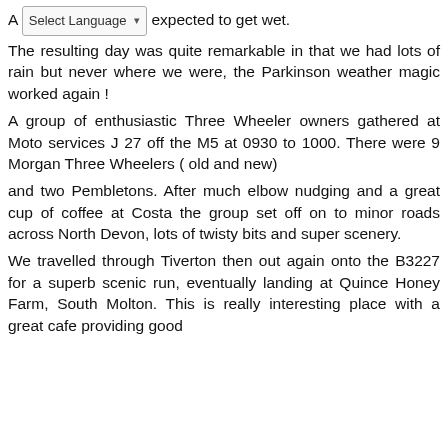A [Select Language] expected to get wet.
The resulting day was quite remarkable in that we had lots of rain but never where we were, the Parkinson weather magic worked again !
A group of enthusiastic Three Wheeler owners gathered at Moto services J 27 off the M5 at 0930 to 1000. There were 9 Morgan Three Wheelers ( old and new)
and two Pembletons. After much elbow nudging and a great cup of coffee at Costa the group set off on to minor roads across North Devon, lots of twisty bits and super scenery.
We travelled through Tiverton then out again onto the B3227 for a superb scenic run, eventually landing at Quince Honey Farm, South Molton. This is really interesting place with a great cafe providing good